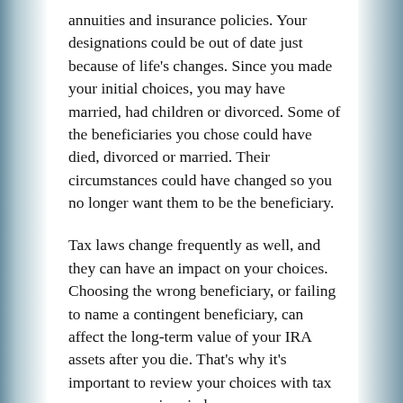annuities and insurance policies. Your designations could be out of date just because of life's changes. Since you made your initial choices, you may have married, had children or divorced. Some of the beneficiaries you chose could have died, divorced or married. Their circumstances could have changed so you no longer want them to be the beneficiary.
Tax laws change frequently as well, and they can have an impact on your choices. Choosing the wrong beneficiary, or failing to name a contingent beneficiary, can affect the long-term value of your IRA assets after you die. That's why it's important to review your choices with tax consequences in mind.